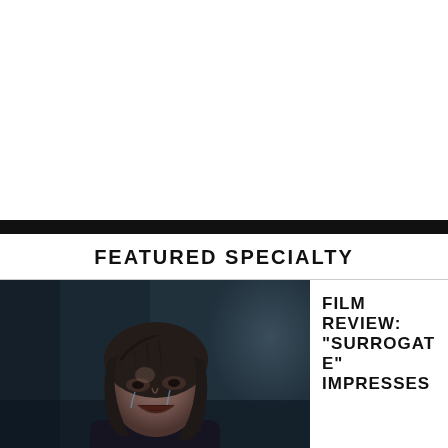FEATURED SPECIALTY
[Figure (photo): A woman with disheveled hair crying, dark moody scene from the film 'Surrogate']
FILM REVIEW: “SURROGATE” IMPRESSES